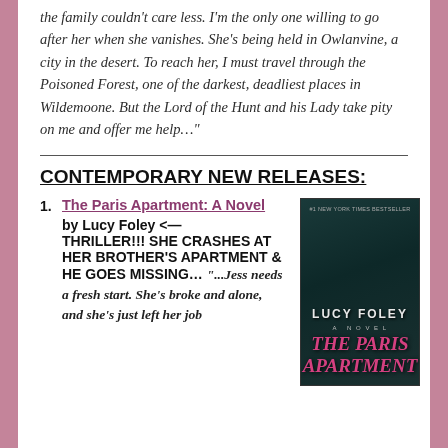the family couldn't care less. I'm the only one willing to go after her when she vanishes. She's being held in Owlanvine, a city in the desert. To reach her, I must travel through the Poisoned Forest, one of the darkest, deadliest places in Wildemoone. But the Lord of the Hunt and his Lady take pity on me and offer me help…"
CONTEMPORARY NEW RELEASES:
The Paris Apartment: A Novel by Lucy Foley <— THRILLER!!! SHE CRASHES AT HER BROTHER'S APARTMENT & HE GOES MISSING… "...Jess needs a fresh start. She's broke and alone, and she's just left her job
[Figure (photo): Book cover of 'The Paris Apartment: A Novel' by Lucy Foley. Dark teal background showing a Parisian apartment building facade. Author name 'LUCY FOLEY' in large white letters, subtitle 'A NOVEL' below, and title 'THE PARIS APARTMENT' in large pink/magenta stylized text at the bottom.]